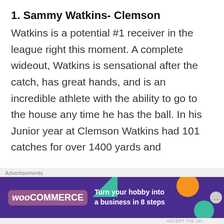1. Sammy Watkins- Clemson
Watkins is a potential #1 receiver in the league right this moment. A complete wideout, Watkins is sensational after the catch, has great hands, and is an incredible athlete with the ability to go to the house any time he has the ball. In his Junior year at Clemson Watkins had 101 catches for over 1400 yards and
[Figure (other): WooCommerce advertisement banner: purple background with teal triangle and orange circle decorations. Text reads 'Turn your hobby into a business in 8 steps' with WooCommerce logo.]